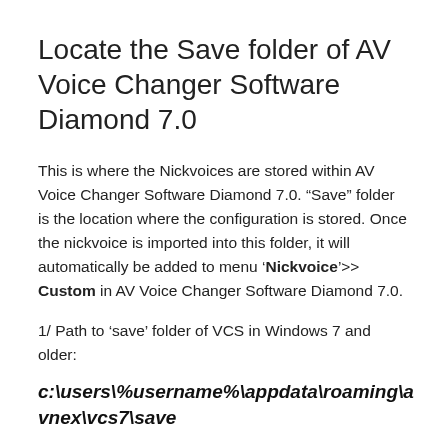Locate the Save folder of AV Voice Changer Software Diamond 7.0
This is where the Nickvoices are stored within AV Voice Changer Software Diamond 7.0. “Save” folder is the location where the configuration is stored. Once the nickvoice is imported into this folder, it will automatically be added to menu ‘Nickvoice’>> Custom in AV Voice Changer Software Diamond 7.0.
1/ Path to ‘save’ folder of VCS in Windows 7 and older:
c:\users\%username%\appdata\roaming\avnex\vcs7\save
2/ How to enter this folder: